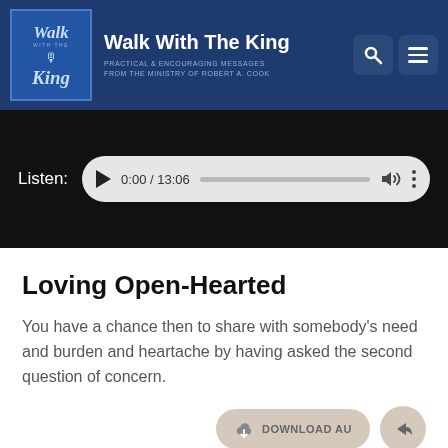Walk With The King — PRACTICAL & ENCOURAGING MESSAGES FROM THE MINISTRY OF ROBERT A. COOK
[Figure (screenshot): Audio player showing 0:00 / 13:06 with play button, progress bar, volume, and menu icons on a black background with Listen: label]
Loving Open-Hearted
You have a chance then to share with somebody's need and burden and heartache by having asked the second question of concern.
[Figure (other): Download Audio button and share/forward button at bottom right]